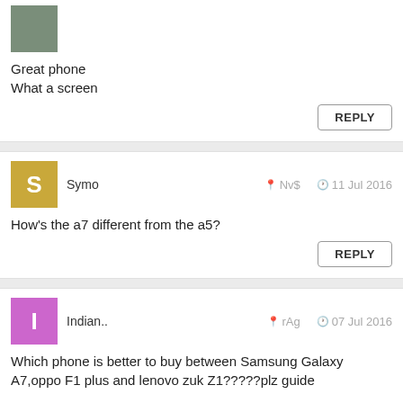[Figure (other): Gray/green user avatar square (cropped, partially visible)]
Great phone
What a screen
REPLY
[Figure (other): Yellow square avatar with letter S for user Symo]
Symo   Nv$   11 Jul 2016
How's the a7 different from the a5?
REPLY
[Figure (other): Purple square avatar with letter I for user Indian..]
Indian..   rAg   07 Jul 2016
Which phone is better to buy between Samsung Galaxy A7,oppo F1 plus and lenovo zuk Z1?????plz guide